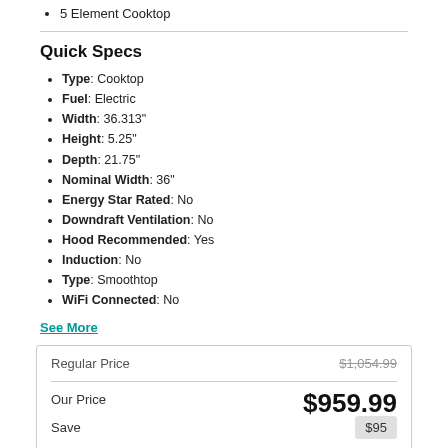5 Element Cooktop
Quick Specs
Type: Cooktop
Fuel: Electric
Width: 36.313"
Height: 5.25"
Depth: 21.75"
Nominal Width: 36"
Energy Star Rated: No
Downdraft Ventilation: No
Hood Recommended: Yes
Induction: No
Type: Smoothtop
WiFi Connected: No
See More
|  |  |
| --- | --- |
| Regular Price | $1,054.99 |
| Our Price | $959.99 |
| Save | $95 |